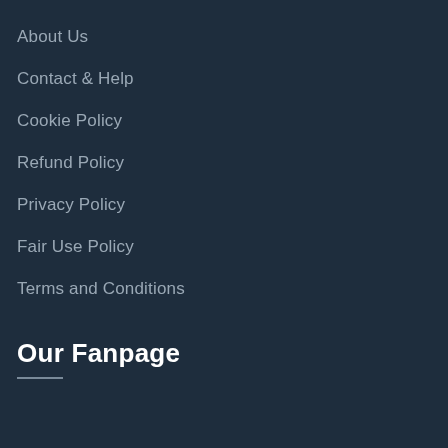About Us
Contact & Help
Cookie Policy
Refund Policy
Privacy Policy
Fair Use Policy
Terms and Conditions
Our Fanpage